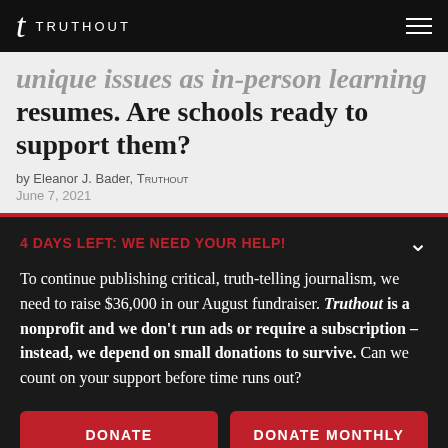TRUTHOUT
unique issues as in-person learning resumes. Are schools ready to support them?
by Eleanor J. Bader, TRUTHOUT
June 7, 2021
4 DAYS LEFT: WE NEED YOUR HELP!
To continue publishing critical, truth-telling journalism, we need to raise $36,000 in our August fundraiser. Truthout is a nonprofit and we don't run ads or require a subscription – instead, we depend on small donations to survive. Can we count on your support before time runs out?
DONATE
DONATE MONTHLY